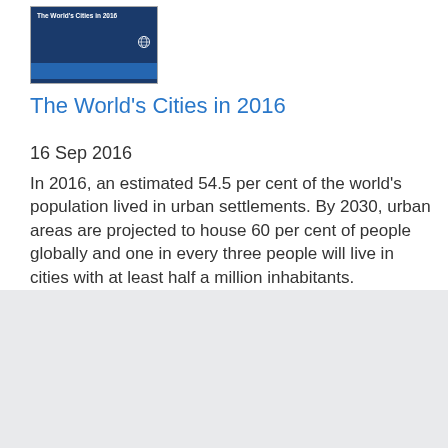[Figure (photo): Book cover of 'The World's Cities in 2016' UN publication with dark blue background and white text]
The World's Cities in 2016
16 Sep 2016
In 2016, an estimated 54.5 per cent of the world's population lived in urban settlements. By 2030, urban areas are projected to house 60 per cent of people globally and one in every three people will live in cities with at least half a million inhabitants. Understanding the key trends in urbaniza...
[Figure (photo): Book cover of 'United Nations Demographic Yearbook 1948' with beige/tan background and UN emblem]
United Nations Demographic Yearbook 1948